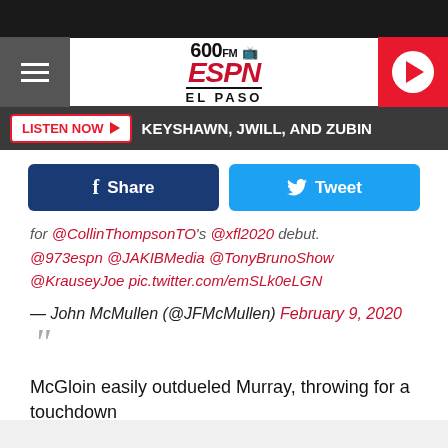[Figure (screenshot): ESPN 600 FM El Paso radio station header with hamburger menu, logo, and play button]
LISTEN NOW  ▶   KEYSHAWN, JWILL, AND ZUBIN
f Share   🐦 Tweet
for @CollinThompsonTO's @xfl2020 debut.
@973espn @JAKIBMedia @TonyBrunoShow @KrauseyJoe pic.twitter.com/emSLk0eLGN
— John McMullen (@JFMcMullen) February 9, 2020
McGloin easily outdueled Murray, throwing for a touchdown